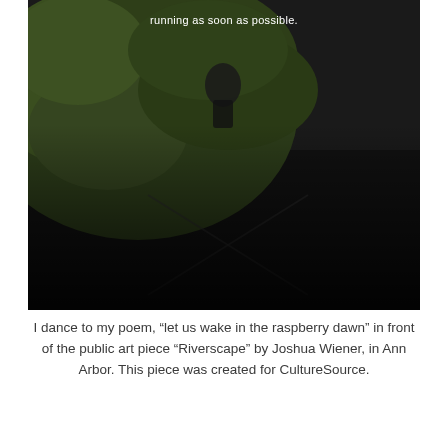[Figure (photo): Aerial or overhead photograph of a person dancing near a public art piece called Riverscape, surrounded by green foliage and dark water. White subtitle text visible at top reading 'running as soon as possible.']
I dance to my poem, “let us wake in the raspberry dawn” in front of the public art piece “Riverscape” by Joshua Wiener, in Ann Arbor. This piece was created for CultureSource.